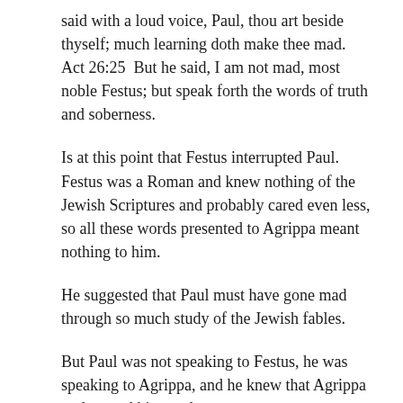said with a loud voice, Paul, thou art beside thyself; much learning doth make thee mad.
Act 26:25  But he said, I am not mad, most noble Festus; but speak forth the words of truth and soberness.
Is at this point that Festus interrupted Paul. Festus was a Roman and knew nothing of the Jewish Scriptures and probably cared even less, so all these words presented to Agrippa meant nothing to him.
He suggested that Paul must have gone mad through so much study of the Jewish fables.
But Paul was not speaking to Festus, he was speaking to Agrippa, and he knew that Agrippa understood his words.